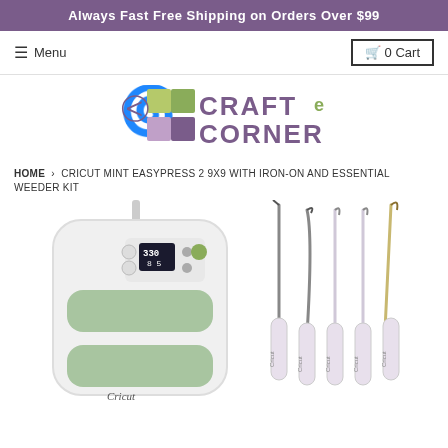Always Fast Free Shipping on Orders Over $99
≡ Menu | 🛒 0 Cart
[Figure (logo): Craft e Corner logo with stylized swirl and colored squares in green and purple]
HOME › CRICUT MINT EASYPRESS 2 9X9 WITH IRON-ON AND ESSENTIAL WEEDER KIT
[Figure (photo): Product photo showing Cricut EasyPress 2 heat press machine on the left and Essential Weeder Kit tools (5 weeding tools) on the right]